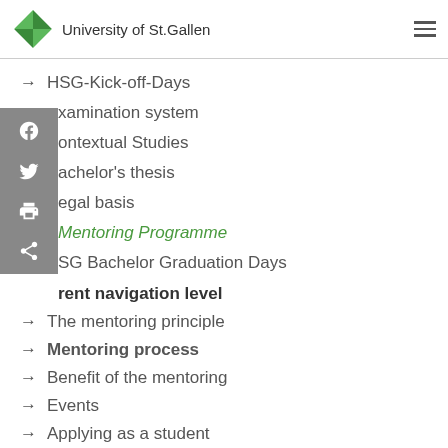University of St.Gallen
→ HSG-Kick-off-Days
xamination system
ontextual Studies
achelor's thesis
egal basis
Mentoring Programme
SG Bachelor Graduation Days
rent navigation level
→ The mentoring principle
→ Mentoring process
→ Benefit of the mentoring
→ Events
→ Applying as a student